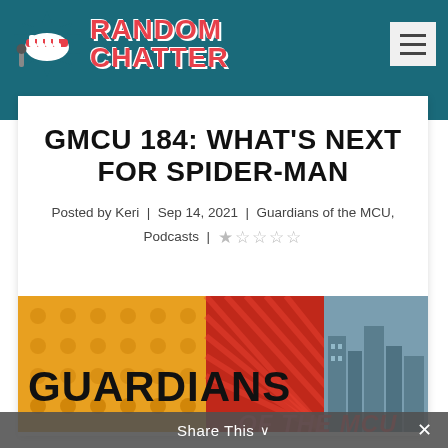Random Chatter — site header with logo and hamburger menu
GMCU 184: WHAT'S NEXT FOR SPIDER-MAN
Posted by Keri | Sep 14, 2021 | Guardians of the MCU, Podcasts | ★☆☆☆☆
[Figure (illustration): Guardians of the MCU logo/banner with comic-style panels in orange, red, and blue-grey tones, with bold text reading GUARDIANS OF THE MCU]
Share This